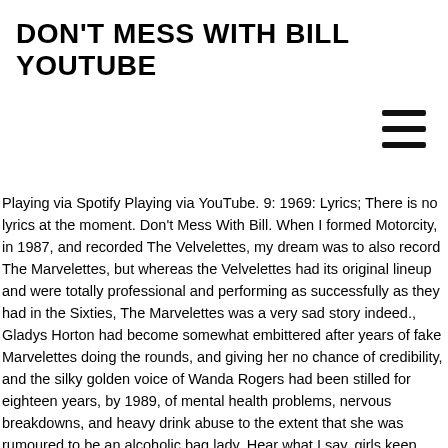DON'T MESS WITH BILL YOUTUBE
[Figure (other): Hamburger menu icon (three horizontal lines)]
Playing via Spotify Playing via YouTube. 9: 1969: Lyrics; There is no lyrics at the moment. Don't Mess With Bill. When I formed Motorcity, in 1987, and recorded The Velvelettes, my dream was to also record The Marvelettes, but whereas the Velvelettes had its original lineup and were totally professional and performing as successfully as they had in the Sixties, The Marvelettes was a very sad story indeed., Gladys Horton had become somewhat embittered after years of fake Marvelettes doing the rounds, and giving her no chance of credibility, and the silky golden voice of Wanda Rogers had been stilled for eighteen years, by 1989, of mental health problems, nervous breakdowns, and heavy drink abuse to the extent that she was rumoured to be an alcoholic bag lady. Hear what I say, girls keep away (No, no, no, no) (Don't mess with Bill) Leave my Billy alone (Don't mess with Bill) Get a guy of your own Watch the video for Don't Mess With Bill from The Marvelettes's The Ultimate Collection for free, and see the artwork, lyrics and similar artists. Don't Mess With Bill 3:50 We recorded this in March 1989, with the